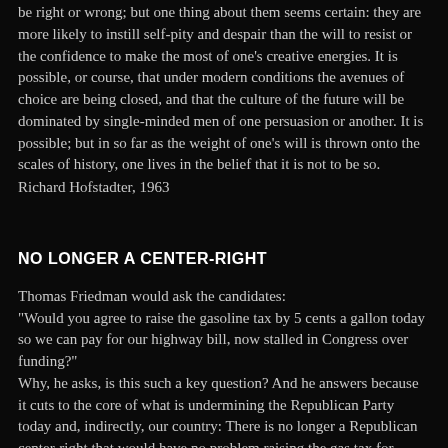be right or wrong; but one thing about them seems certain: they are more likely to instill self-pity and despair than the will to resist or the confidence to make the most of one's creative energies. It is possible, or course, that under modern conditions the avenues of choice are being closed, and that the culture of the future will be dominated by single-minded men of one persuasion or another. It is possible; but in so far as the weight of one's will is thrown onto the scales of history, one lives in the belief that it is not to be so.
Richard Hofstadter, 1963
NO LONGER A CENTER-RIGHT
Thomas Friedman would ask the candidates:
"Would you agree to raise the gasoline tax by 5 cents a gallon today so we can pay for our highway bill, now stalled in Congress over funding?"
Why, he asks, is this such a key question? And he answers because it cuts to the core of what is undermining the Republican Party today and, indirectly, our country: There is no longer a Republican center-right that would have no problem raising the gas tax for something as fundamental as infrastructure. Sure, there are center-right candidates — like Jeb Bush and John Kasich. But can they run, win